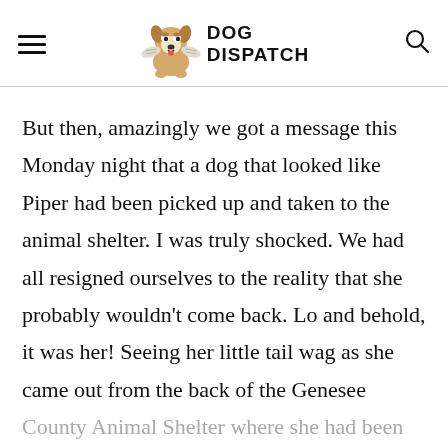DOG DISPATCH
But then, amazingly we got a message this Monday night that a dog that looked like Piper had been picked up and taken to the animal shelter. I was truly shocked. We had all resigned ourselves to the reality that she probably wouldn't come back. Lo and behold, it was her! Seeing her little tail wag as she came out from the back of the Genesee County Animal Shelter where she had been